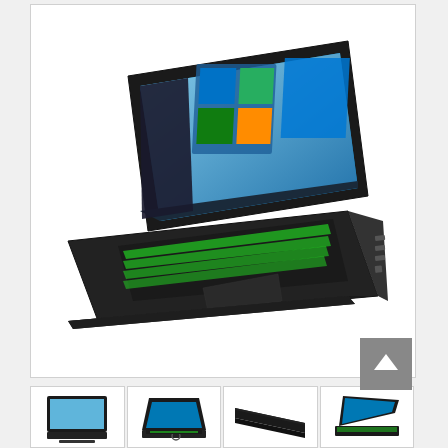[Figure (photo): HP Pavilion gaming laptop in perspective view, showing a black laptop with green backlit keyboard and Windows 10 displayed on screen. The laptop is shown at an angle from the front-left, with USB ports visible on the right side.]
[Figure (photo): Small thumbnail of the HP Pavilion gaming laptop from the front.]
[Figure (photo): Small thumbnail of the HP Pavilion gaming laptop showing a front-angled view with Windows 10 and a circular logo.]
[Figure (photo): Small thumbnail of the HP Pavilion gaming laptop from side/closed view.]
[Figure (photo): Small thumbnail of the HP Pavilion gaming laptop from another angle.]